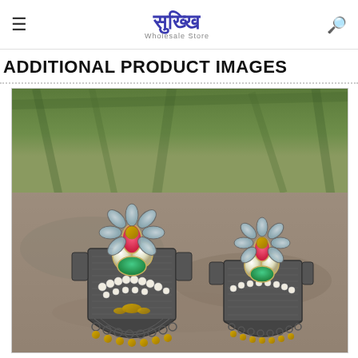Sukkhi Wholesale Store — navigation header with hamburger menu and search icon
ADDITIONAL PRODUCT IMAGES
[Figure (photo): Close-up photograph of two ornate Indian jewelry earrings placed on a stone surface with green foliage background. The earrings feature a flower petal design with light blue/grey petals, a pink/red gemstone at top, white kundan stones, green stone, silver oxidized metal base with filigree work, small pearl drops, golden beads at the bottom, and decorative hanging rings with golden balls.]